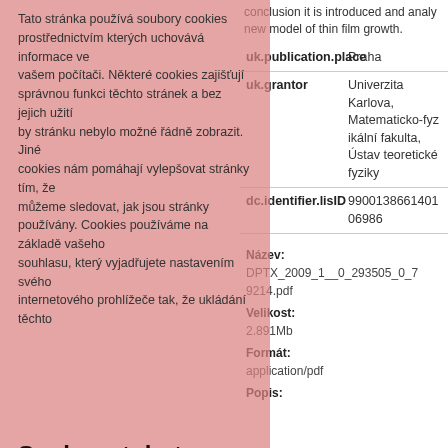conclusion it is introduced and analyzed a new model of thin film growth.
| key | value |
| --- | --- |
| uk.publication.place | Praha |
| uk.grantor | Univerzita Karlova, Matematicko-fyzikální fakulta, Ústav teoretické fyziky |
| dc.identifier.lisID | 990013866140106986 |
Tato stránka používá soubory cookies prostřednictvím kterých uchovává informace ve vašem počítači. Některé cookies zajišťují správnou funkci těchto stránek a bez jejich užití by stránku nebylo možné řádně zobrazit. Jiné cookies nám pomáhají vylepšovat stránky tím, že můžeme sledovat, jak jsou stránky používány. Cookies používáme na základě vašeho souhlasu, který vyjadřujete nastavením svého internetového prohlížeče tak, že ukládání těchto cookies umožňujete.
Soubory tohoto záznamu
Pokud svůj souhlas s používáním těchto cookies odvolat, proveďte prosím příslušné nastavení vašeho internetového prohlížeče.
No Thumbnail
Beru na vědomí
Název: DPTX_2009_1__0_293505_0_79214.pdf
Velikost: 2.891Mb
Formát: application/pdf
Popis: